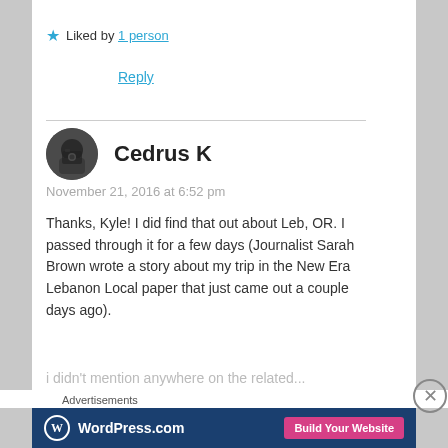Liked by 1 person
Reply
Cedrus K
November 21, 2016 at 6:52 pm
Thanks, Kyle! I did find that out about Leb, OR. I passed through it for a few days (Journalist Sarah Brown wrote a story about my trip in the New Era Lebanon Local paper that just came out a couple days ago).
[Figure (logo): WordPress.com advertisement banner with logo and 'Build Your Website' button]